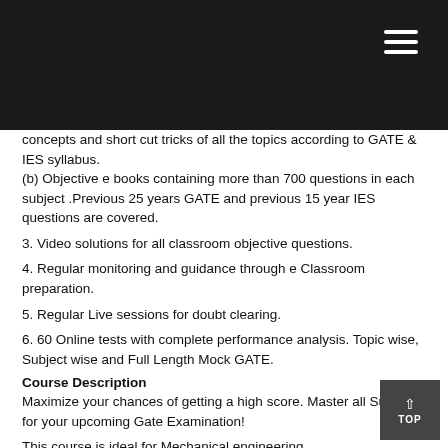concepts and short cut tricks of all the topics according to GATE & IES syllabus.
(b) Objective e books containing more than 700 questions in each subject .Previous 25 years GATE and previous 15 year IES questions are covered.
3. Video solutions for all classroom objective questions.
4. Regular monitoring and guidance through e Classroom preparation.
5. Regular Live sessions for doubt clearing.
6. 60 Online tests with complete performance analysis. Topic wise, Subject wise and Full Length Mock GATE.
Course Description
Maximize your chances of getting a high score. Master all Subjects for your upcoming Gate Examination!
This course is ideal for Mechanical engineering